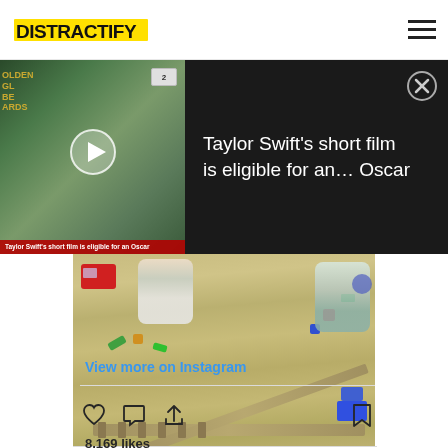Distractify
[Figure (screenshot): Video ad overlay showing Taylor Swift at Golden Globe Awards with play button, channel badge, and dark panel with text 'Taylor Swift's short film is eligible for an... Oscar' and close button]
[Figure (photo): Instagram photo showing two children playing with wooden train set on wooden floor with colorful toys scattered around]
View more on Instagram
[Figure (infographic): Instagram action bar with heart/like icon, comment icon, share icon, and bookmark icon]